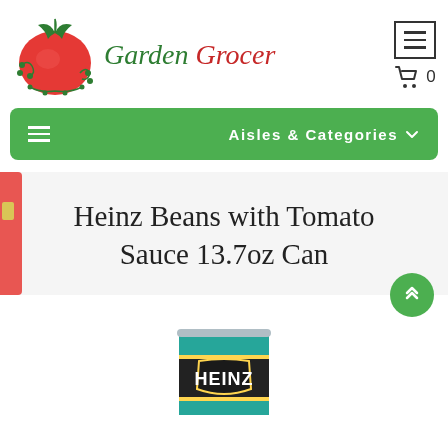[Figure (logo): Garden Grocer logo with red tomato illustration and green/red cursive brand name text]
[Figure (screenshot): Menu button (hamburger icon) in bordered box]
[Figure (screenshot): Shopping cart icon with '0' count]
[Figure (screenshot): Green navigation bar with hamburger icon and 'Aisles & Categories' dropdown label]
Heinz Beans with Tomato Sauce 13.7oz Can
[Figure (photo): Partially visible Heinz Beans with Tomato Sauce can (teal/turquoise label with HEINZ text visible at bottom of page)]